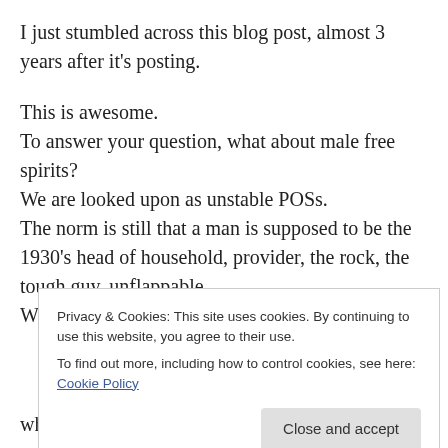I just stumbled across this blog post, almost 3 years after it's posting.
This is awesome.
To answer your question, what about male free spirits?
We are looked upon as unstable POSs.
The norm is still that a man is supposed to be the 1930's head of household, provider, the rock, the tough guy, unflappable.
We go through life largely un-trusted and eyed
Privacy & Cookies: This site uses cookies. By continuing to use this website, you agree to their use.
To find out more, including how to control cookies, see here: Cookie Policy
who have the hardest time understanding those